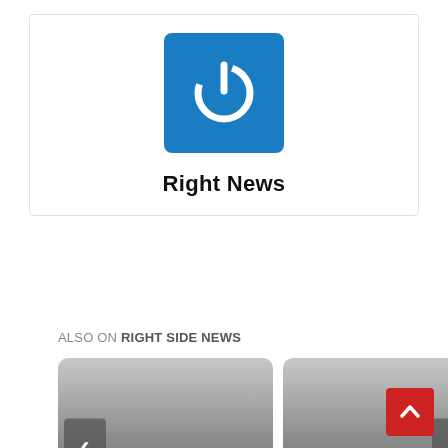[Figure (logo): Right News logo: blue square with white power button icon]
Right News
ALSO ON RIGHT SIDE NEWS
[Figure (screenshot): News card: Ukraine Thing will Soon Lead to Cyprus — years ago • 1 comment, with left navigation arrow]
[Figure (screenshot): News card: Covid-19: An Abomination! — 2 years ago • 1 comment, with right navigation arrow]